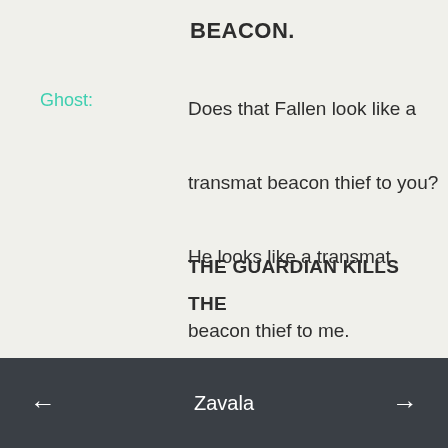BEACON.
Ghost: Does that Fallen look like a transmat beacon thief to you? He looks like a transmat beacon thief to me.
THE GUARDIAN KILLS THE SUPPLY THIEF. IT DROPS A BROKEN DIODE. THE GUARDIAN CONTINUES
← Zavala →